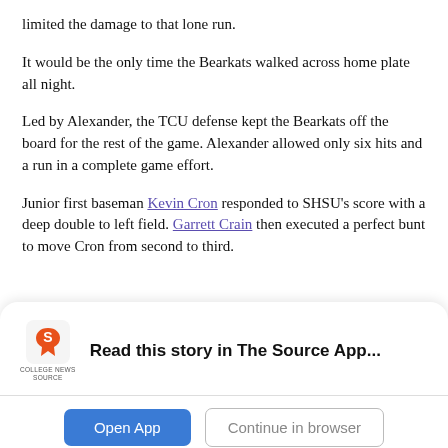limited the damage to that lone run.
It would be the only time the Bearkats walked across home plate all night.
Led by Alexander, the TCU defense kept the Bearkats off the board for the rest of the game. Alexander allowed only six hits and a run in a complete game effort.
Junior first baseman Kevin Cron responded to SHSU's score with a deep double to left field. Garrett Crain then executed a perfect bunt to move Cron from second to third.
[Figure (other): College News Source app banner with logo, 'Read this story in The Source App...' message, and two buttons: 'Open App' (blue) and 'Continue in browser' (outlined).]